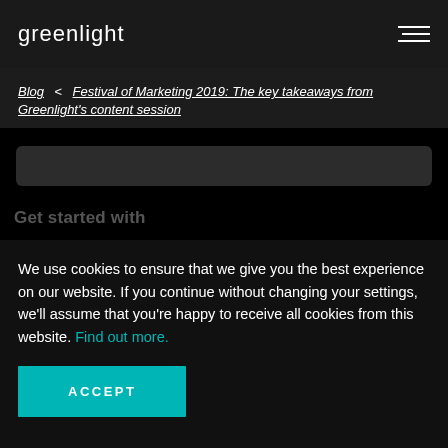greenlight
Blog < Festival of Marketing 2019: The key takeaways from Greenlight's content session
We use cookies to ensure that we give you the best experience on our website. If you continue without changing your settings, we'll assume that you're happy to receive all cookies from this website. Find out more.
ACCEPT